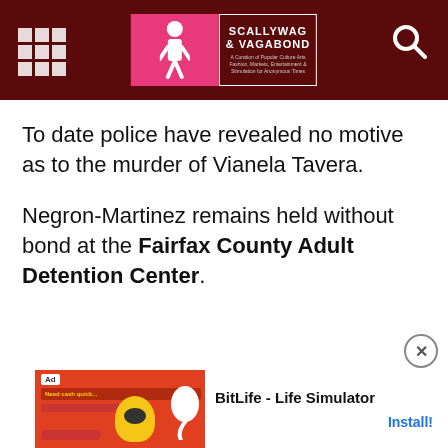Scallywag & Vagabond
To date police have revealed no motive as to the murder of Vianela Tavera.
Negron-Martinez remains held without bond at the Fairfax County Adult Detention Center.
[Figure (other): Advertisement banner for BitLife - Life Simulator app with install button]